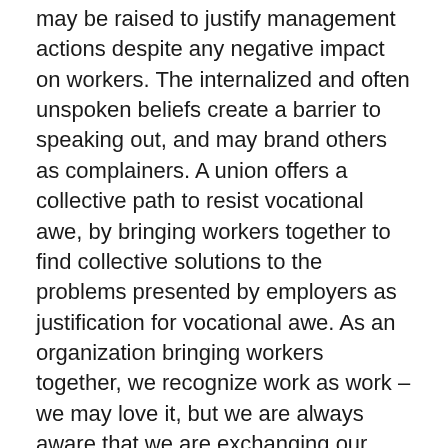may be raised to justify management actions despite any negative impact on workers. The internalized and often unspoken beliefs create a barrier to speaking out, and may brand others as complainers. A union offers a collective path to resist vocational awe, by bringing workers together to find collective solutions to the problems presented by employers as justification for vocational awe. As an organization bringing workers together, we recognize work as work – we may love it, but we are always aware that we are exchanging our labor for our salary.
Vocational awe has affected both of us at various points through our professional careers: Diana experienced its use as an excuse for low wages when working in the DC non-profit sector, which led to significant burnout and a general disillusionment with the vocation's identity. Kelly selected for elite libr...